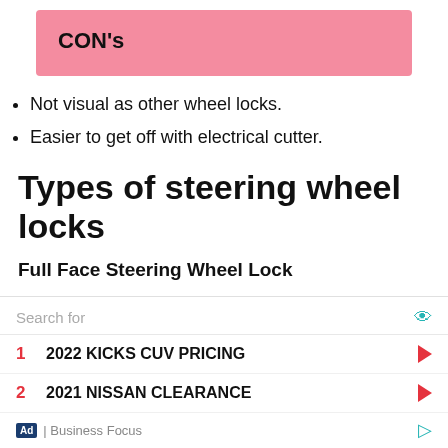CON's
Not visual as other wheel locks.
Easier to get off with electrical cutter.
Types of steering wheel locks
Full Face Steering Wheel Lock
A full-face steering wheel lock is a lock that covers the whole steering wheel to prevent anyone from
[Figure (other): Advertisement overlay with search bar and two sponsored results: 1. 2022 KICKS CUV PRICING, 2. 2021 NISSAN CLEARANCE. Footer: Ad | Business Focus]